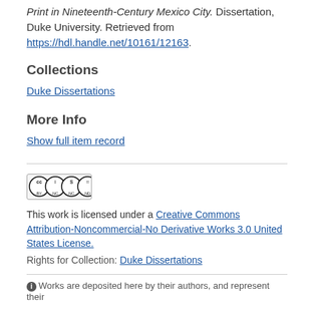Print in Nineteenth-Century Mexico City. Dissertation, Duke University. Retrieved from https://hdl.handle.net/10161/12163.
Collections
Duke Dissertations
More Info
Show full item record
[Figure (logo): Creative Commons Attribution-Noncommercial-No Derivative Works license badge with CC, BY, NC, ND icons]
This work is licensed under a Creative Commons Attribution-Noncommercial-No Derivative Works 3.0 United States License.
Rights for Collection: Duke Dissertations
Works are deposited here by their authors, and represent their